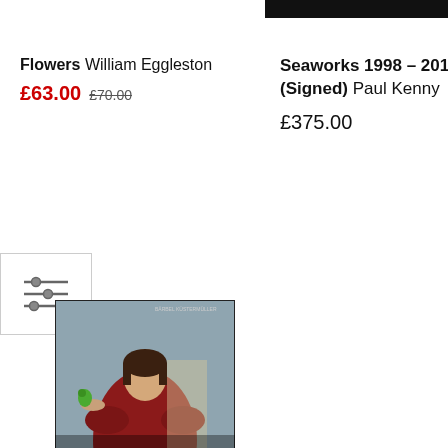[Figure (other): Black bar at top of right column, partial product image cropped]
Flowers William Eggleston
£63.00 £70.00
[Figure (other): Filter/sliders icon in a white box with border]
Seaworks 1998 – 2013 (Signed) Paul Kenny
£375.00
[Figure (photo): Book cover: Women Photographers – From Julia Margaret Cameron to Cindy Sherman. Published by Prestel. Shows a woman in a red dress holding a green parrot, on a muted background.]